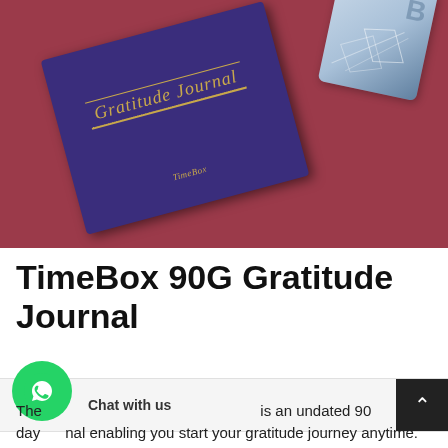[Figure (photo): A purple/dark blue hardcover gratitude journal with gold script text reading 'Gratitude Journal' on the cover, placed on a dark red/maroon background. A light blue geometric card is partially visible in the top right corner.]
TimeBox 90G Gratitude Journal
The TimeBox 90G Gratitude Journal is an undated 90 day journal enabling you start your gratitude journey anytime.